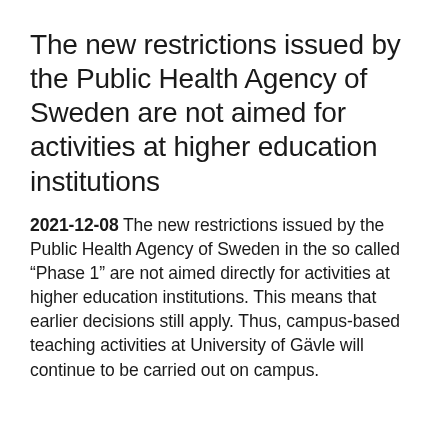The new restrictions issued by the Public Health Agency of Sweden are not aimed for activities at higher education institutions
2021-12-08  The new restrictions issued by the Public Health Agency of Sweden in the so called “Phase 1” are not aimed directly for activities at higher education institutions. This means that earlier decisions still apply. Thus, campus-based teaching activities at University of Gävle will continue to be carried out on campus.